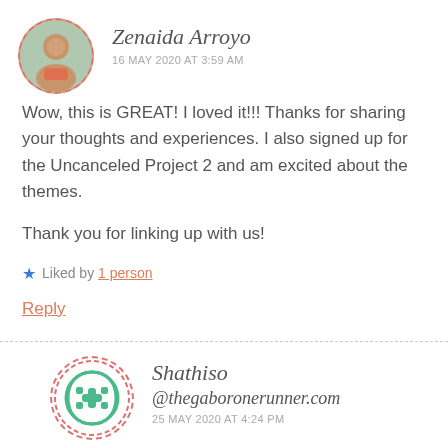Zenaida Arroyo
16 MAY 2020 AT 3:59 AM
Wow, this is GREAT! I loved it!!! Thanks for sharing your thoughts and experiences. I also signed up for the Uncanceled Project 2 and am excited about the themes.

Thank you for linking up with us!
Liked by 1 person
Reply
Shathiso
@thegaboronerunner.com
25 MAY 2020 AT 4:24 PM